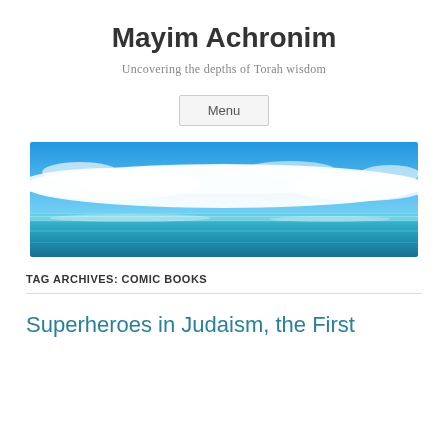Mayim Achronim
Uncovering the depths of Torah wisdom
Menu
[Figure (photo): Wide panoramic photo of ocean and sky with white clouds over turquoise water]
TAG ARCHIVES: COMIC BOOKS
Superheroes in Judaism, the First